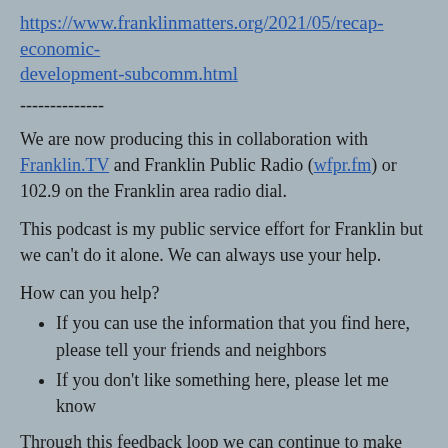https://www.franklinmatters.org/2021/05/recap-economic-development-subcomm.html
--------------
We are now producing this in collaboration with Franklin.TV and Franklin Public Radio (wfpr.fm) or 102.9 on the Franklin area radio dial.
This podcast is my public service effort for Franklin but we can't do it alone. We can always use your help.
How can you help?
If you can use the information that you find here, please tell your friends and neighbors
If you don't like something here, please let me know
Through this feedback loop we can continue to make improvements. I thank you for listening.
For additional information, please visit Franklinmatters.org/ or